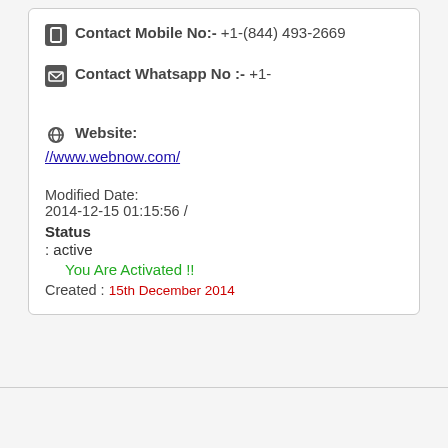Contact Mobile No:- +1-(844) 493-2669
Contact Whatsapp No :- +1-
Website: //www.webnow.com/
Modified Date: 2014-12-15 01:15:56 /
Status : active
You Are Activated !!
Created : 15th December 2014